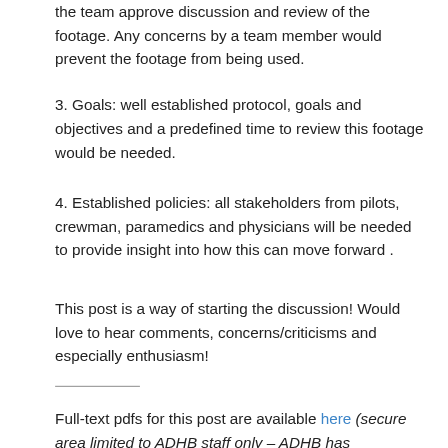the team approve discussion and review of the footage. Any concerns by a team member would prevent the footage from being used.
3. Goals: well established protocol, goals and objectives and a predefined time to review this footage would be needed.
4. Established policies: all stakeholders from pilots, crewman, paramedics and physicians will be needed to provide insight into how this can move forward .
This post is a way of starting the discussion! Would love to hear comments, concerns/criticisms and especially enthusiasm!
Full-text pdfs for this post are available here (secure area limited to ADHB staff only – ADHB has subscription access for staff to these journals through the Philson Library at the University of Auckland School Of Medicine)